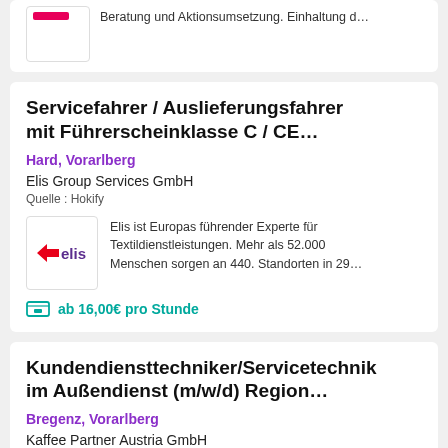Beratung und Aktionsumsetzung. Einhaltung d…
Servicefahrer / Auslieferungsfahrer mit Führerscheinklasse C / CE…
Hard, Vorarlberg
Elis Group Services GmbH
Quelle : Hokify
Elis ist Europas führender Experte für Textildienstleistungen. Mehr als 52.000 Menschen sorgen an 440. Standorten in 29…
ab 16,00€ pro Stunde
Kundendiensttechniker/Servicetechniker im Außendienst (m/w/d) Region…
Bregenz, Vorarlberg
Kaffee Partner Austria GmbH